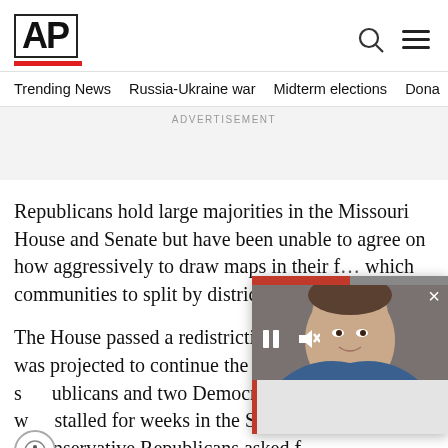AP
Trending News   Russia-Ukraine war   Midterm elections   Dona
ADVERTISEMENT
Republicans hold large majorities in the Missouri House and Senate but have been unable to agree on how aggressively to draw maps in their f… which communities to split by district li…
The House passed a redistricting p… was projected to continue the curr… s… ublicans and two Democrat… w… stalled for weeks in the Senat… …conservative Republicans asked f…
[Figure (screenshot): Video overlay showing a woman speaking, with playback controls (pause and mute buttons), a close button (×), a red progress bar at top, and a grey content card at bottom.]